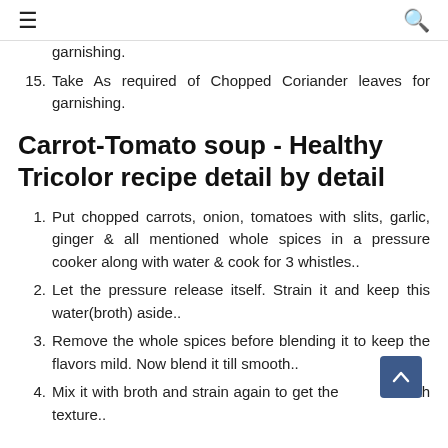≡  🔍
garnishing.
15. Take As required of Chopped Coriander leaves for garnishing.
Carrot-Tomato soup - Healthy Tricolor recipe detail by detail
1. Put chopped carrots, onion, tomatoes with slits, garlic, ginger & all mentioned whole spices in a pressure cooker along with water & cook for 3 whistles..
2. Let the pressure release itself. Strain it and keep this water(broth) aside..
3. Remove the whole spices before blending it to keep the flavors mild. Now blend it till smooth..
4. Mix it with broth and strain again to get the smooth texture..